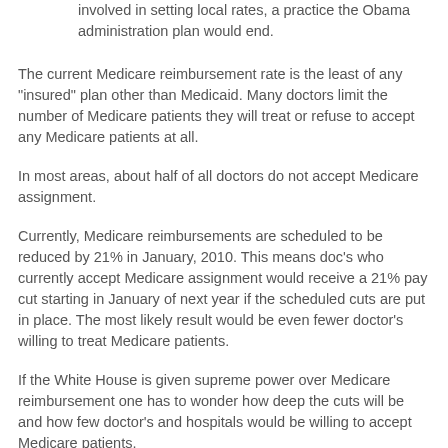involved in setting local rates, a practice the Obama administration plan would end.
The current Medicare reimbursement rate is the least of any "insured" plan other than Medicaid. Many doctors limit the number of Medicare patients they will treat or refuse to accept any Medicare patients at all.
In most areas, about half of all doctors do not accept Medicare assignment.
Currently, Medicare reimbursements are scheduled to be reduced by 21% in January, 2010. This means doc's who currently accept Medicare assignment would receive a 21% pay cut starting in January of next year if the scheduled cuts are put in place. The most likely result would be even fewer doctor's willing to treat Medicare patients.
If the White House is given supreme power over Medicare reimbursement one has to wonder how deep the cuts will be and how few doctor's and hospitals would be willing to accept Medicare patients.